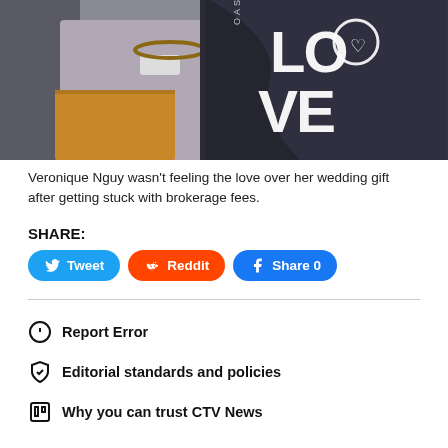[Figure (photo): Woman holding open a cardboard box with plastic-covered item showing 'LOVE' text in large white letters on dark background]
Veronique Nguy wasn't feeling the love over her wedding gift after getting stuck with brokerage fees.
SHARE:
Tweet | Reddit | Share 0
Report Error
Editorial standards and policies
Why you can trust CTV News